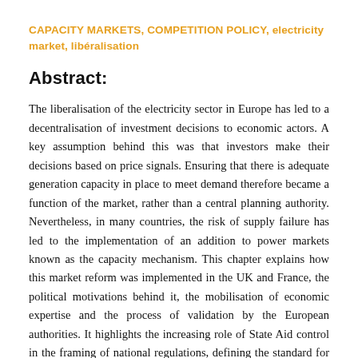CAPACITY MARKETS, COMPETITION POLICY, electricity market, libéralisation
Abstract:
The liberalisation of the electricity sector in Europe has led to a decentralisation of investment decisions to economic actors. A key assumption behind this was that investors make their decisions based on price signals. Ensuring that there is adequate generation capacity in place to meet demand therefore became a function of the market, rather than a central planning authority. Nevertheless, in many countries, the risk of supply failure has led to the implementation of an addition to power markets known as the capacity mechanism. This chapter explains how this market reform was implemented in the UK and France, the political motivations behind it, the mobilisation of economic expertise and the process of validation by the European authorities. It highlights the increasing role of State Aid control in the framing of national regulations, defining the standard for electricity market organisation and conditions